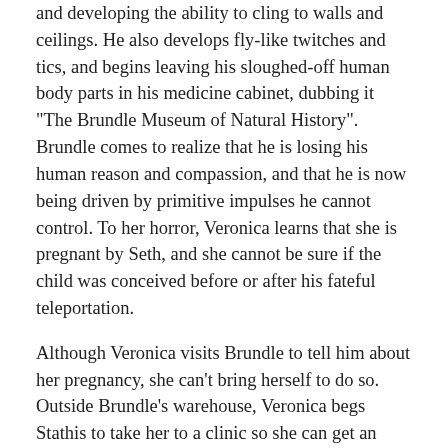and developing the ability to cling to walls and ceilings. He also develops fly-like twitches and tics, and begins leaving his sloughed-off human body parts in his medicine cabinet, dubbing it "The Brundle Museum of Natural History". Brundle comes to realize that he is losing his human reason and compassion, and that he is now being driven by primitive impulses he cannot control. To her horror, Veronica learns that she is pregnant by Seth, and she cannot be sure if the child was conceived before or after his fateful teleportation.
Although Veronica visits Brundle to tell him about her pregnancy, she can't bring herself to do so. Outside Brundle's warehouse, Veronica begs Stathis to take her to a clinic so she can get an abortion, but Brundle overhears their discussion while watching them from the rooftop. Brundle then abducts Veronica from the clinic, and begs her to carry the child to term, since it could potentially be the last remnant of his untainted humanity. Veronica refuses, afraid that the child will be a hideous mutant. Brundle takes her back to his warehouse.
Meanwhile, Stathis breaks into the lab with a shotgun and comes to Veronica's rescue, but is seriously injured and nearly killed by the almost fully-transformed Brundle, who dissolves Stathis' left hand and right foot